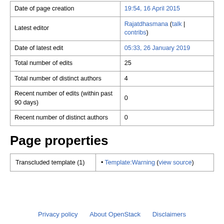|  |  |
| --- | --- |
| Date of page creation | 19:54, 16 April 2015 |
| Latest editor | Rajatdhasmana (talk | contribs) |
| Date of latest edit | 05:33, 26 January 2019 |
| Total number of edits | 25 |
| Total number of distinct authors | 4 |
| Recent number of edits (within past 90 days) | 0 |
| Recent number of distinct authors | 0 |
Page properties
|  |  |
| --- | --- |
| Transcluded template (1) | • Template:Warning (view source) |
Privacy policy   About OpenStack   Disclaimers